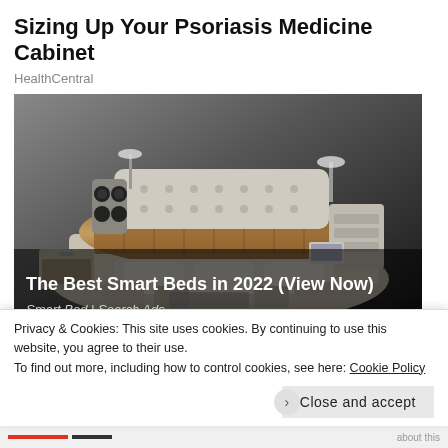Sizing Up Your Psoriasis Medicine Cabinet
HealthCentral
[Figure (photo): Advertisement image showing a high-tech smart bed with speakers, storage drawers, adjustable panels, and various integrated features, with text overlay reading 'The Best Smart Beds in 2022 (View Now)' and source 'Smart Bed | Search Ads']
Privacy & Cookies: This site uses cookies. By continuing to use this website, you agree to their use.
To find out more, including how to control cookies, see here: Cookie Policy
Close and accept